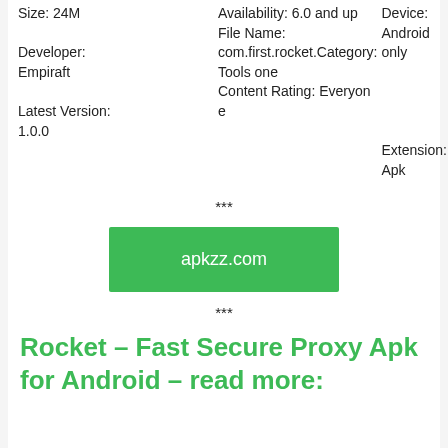| Size: 24M | Availability: 6.0 and up | Device: Android only |
| Developer: Empiraft | File Name: com.first.rocket.Category: Tools one |  |
| Latest Version: 1.0.0 | Content Rating: Everyone | Extension: Apk |
***
[Figure (other): Green button with text apkzz.com]
***
Rocket – Fast Secure Proxy Apk for Android – read more: